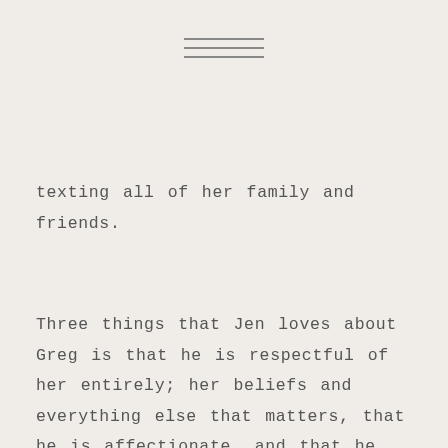[Figure (other): Hamburger menu icon with three horizontal lines]
texting all of her family and friends.
Three things that Jen loves about Greg is that he is respectful of her entirely; her beliefs and everything else that matters, that he is affectionate, and that he asks for her opinion on things that she doesn't expect (like